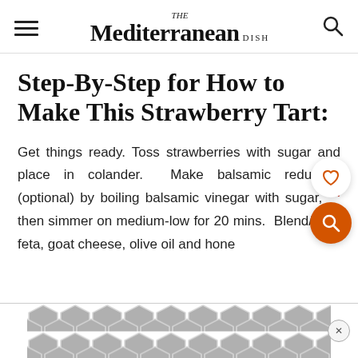THE Mediterranean DISH
Step-By-Step for How to Make This Strawberry Tart:
Get things ready. Toss strawberries with sugar and place in colander. Make balsamic reduction (optional) by boiling balsamic vinegar with sugar,²64 then simmer on medium-low for 20 mins. Blend/whip feta, goat cheese, olive oil and honey
[Figure (other): Ad banner with geometric hexagon tile pattern at bottom of page]